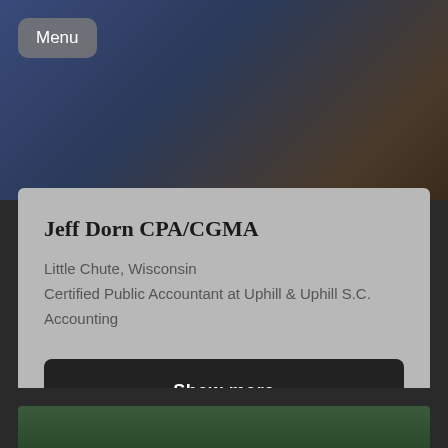[Figure (photo): Background photo of a person wearing a blue jacket, used as profile header image]
Jeff Dorn CPA/CGMA
Little Chute, Wisconsin
Certified Public Accountant at Uphill & Uphill S.C.
Accounting
Show more